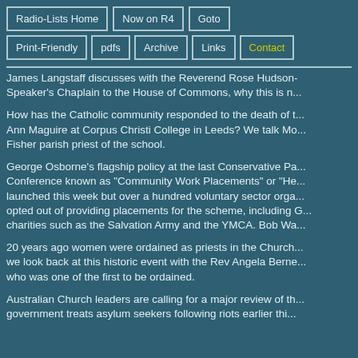Radio-Lists Home | Now on R4 | Goto | Print-Friendly | pdfs | Archive | Links | Contact
James Langstaff discusses with the Reverend Rose Hudson-Speaker's Chaplain to the House of Commons, why this is n...
How has the Catholic community responded to the death of t... Ann Maguire at Corpus Christi College in Leeds? We talk Mo... Fisher parish priest of the school.
George Osborne's flagship policy at the last Conservative Pa... Conference known as "Community Work Placements" or "He... launched this week but over a hundred voluntary sector orga... opted out of providing placements for the scheme, including G... charities such as the Salvation Army and the YMCA. Bob Wa...
20 years ago women were ordained as priests in the Church... we look back at this historic event with the Rev Angela Berne... who was one of the first to be ordained.
Australian Church leaders are calling for a major review of th... government treats asylum seekers following riots earlier thi...